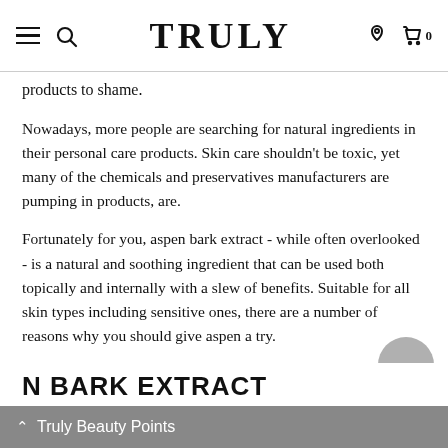TRULY
products to shame.
Nowadays, more people are searching for natural ingredients in their personal care products. Skin care shouldn't be toxic, yet many of the chemicals and preservatives manufacturers are pumping in products, are.
Fortunately for you, aspen bark extract - while often overlooked - is a natural and soothing ingredient that can be used both topically and internally with a slew of benefits. Suitable for all skin types including sensitive ones, there are a number of reasons why you should give aspen a try.
Let's take a further look into aspect bark extract and its amazing arsenal of skin care benefits.
N BARK EXTRACT
Truly Beauty Points